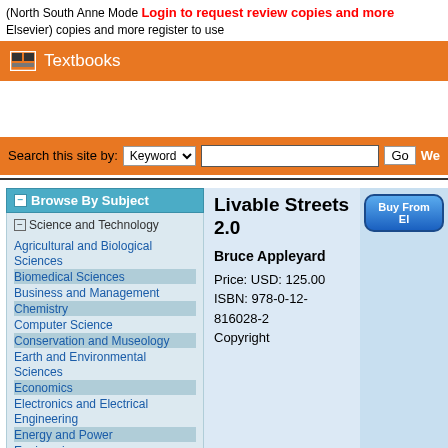(North South Anne Mode Elsevier) copies and more login to request review copies and more register to use
Textbooks
Search this site by: Keyword  Go We
Browse By Subject
Science and Technology
Agricultural and Biological Sciences
Biomedical Sciences
Business and Management
Chemistry
Computer Science
Conservation and Museology
Earth and Environmental Sciences
Economics
Electronics and Electrical Engineering
Energy and Power
Engineering
Finance
Livable Streets 2.0
Bruce Appleyard
Price: USD: 125.00
ISBN: 978-0-12-816028-2
Copyright